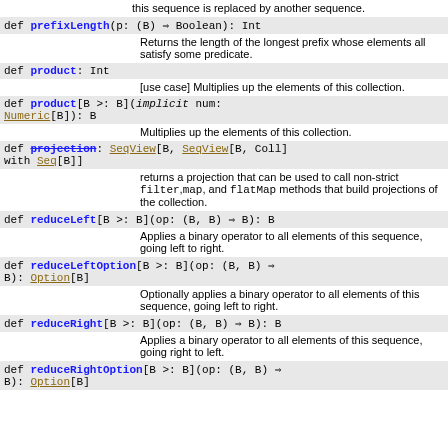...produces a new sequence where a slice of elements in this sequence is replaced by another sequence.
def prefixLength(p: (B) ⇒ Boolean): Int
Returns the length of the longest prefix whose elements all satisfy some predicate.
def product: Int
[use case] Multiplies up the elements of this collection.
def product[B >: B](implicit num: Numeric[B]): B
Multiplies up the elements of this collection.
def projection: SeqView[B, SeqView[B, Coll] with Seq[B]]
returns a projection that can be used to call non-strict filter,map, and flatMap methods that build projections of the collection.
def reduceLeft[B >: B](op: (B, B) ⇒ B): B
Applies a binary operator to all elements of this sequence, going left to right.
def reduceLeftOption[B >: B](op: (B, B) ⇒ B): Option[B]
Optionally applies a binary operator to all elements of this sequence, going left to right.
def reduceRight[B >: B](op: (B, B) ⇒ B): B
Applies a binary operator to all elements of this sequence, going right to left.
def reduceRightOption[B >: B](op: (B, B) ⇒ B): Option[B]